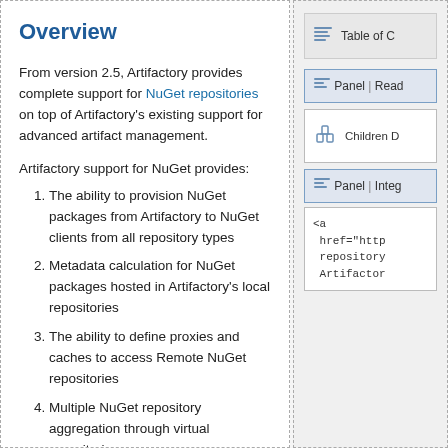Overview
From version 2.5, Artifactory provides complete support for NuGet repositories on top of Artifactory's existing support for advanced artifact management.
Artifactory support for NuGet provides:
The ability to provision NuGet packages from Artifactory to NuGet clients from all repository types
Metadata calculation for NuGet packages hosted in Artifactory's local repositories
The ability to define proxies and caches to access Remote NuGet repositories
Multiple NuGet repository aggregation through virtual repositories
APIs to deploy or remove packages
[Figure (screenshot): Table of Contents sidebar panel with icon]
[Figure (screenshot): Panel | Read sidebar section]
[Figure (screenshot): Children D panel with lock icon]
[Figure (screenshot): Panel | Integ sidebar section]
[Figure (screenshot): Code block showing <a href="http... repository... Artifactor..."]